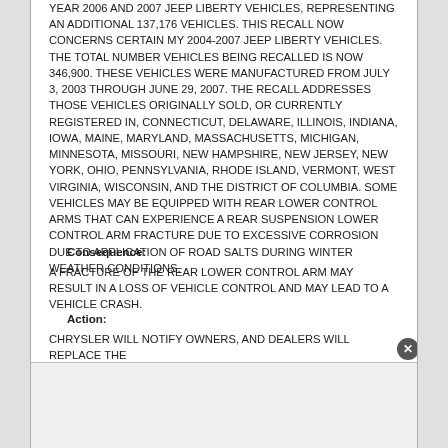YEAR 2006 AND 2007 JEEP LIBERTY VEHICLES, REPRESENTING AN ADDITIONAL 137,176 VEHICLES. THIS RECALL NOW CONCERNS CERTAIN MY 2004-2007 JEEP LIBERTY VEHICLES. THE TOTAL NUMBER VEHICLES BEING RECALLED IS NOW 346,900. THESE VEHICLES WERE MANUFACTURED FROM JULY 3, 2003 THROUGH JUNE 29, 2007. THE RECALL ADDRESSES THOSE VEHICLES ORIGINALLY SOLD, OR CURRENTLY REGISTERED IN, CONNECTICUT, DELAWARE, ILLINOIS, INDIANA, IOWA, MAINE, MARYLAND, MASSACHUSETTS, MICHIGAN, MINNESOTA, MISSOURI, NEW HAMPSHIRE, NEW JERSEY, NEW YORK, OHIO, PENNSYLVANIA, RHODE ISLAND, VERMONT, WEST VIRGINIA, WISCONSIN, AND THE DISTRICT OF COLUMBIA. SOME VEHICLES MAY BE EQUIPPED WITH REAR LOWER CONTROL ARMS THAT CAN EXPERIENCE A REAR SUSPENSION LOWER CONTROL ARM FRACTURE DUE TO EXCESSIVE CORROSION DUE TO APPLICATION OF ROAD SALTS DURING WINTER WEATHER CONDITIONS.
Consequence:
A FRACTURE OF THE REAR LOWER CONTROL ARM MAY RESULT IN A LOSS OF VEHICLE CONTROL AND MAY LEAD TO A VEHICLE CRASH.
Action:
CHRYSLER WILL NOTIFY OWNERS, AND DEALERS WILL REPLACE THE